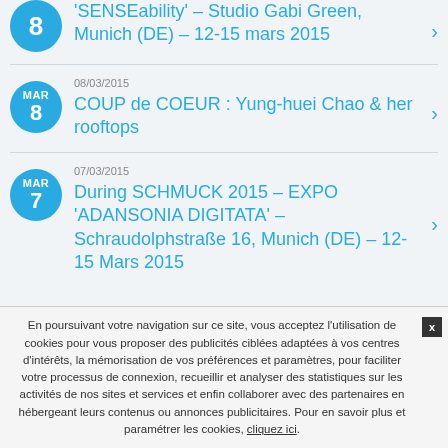'SENSEability' – Studio Gabi Green, Munich (DE) – 12-15 mars 2015
08/03/2015 COUP de COEUR : Yung-huei Chao & her rooftops
07/03/2015 During SCHMUCK 2015 – EXPO 'ADANSONIA DIGITATA' – Schraudolphstraße 16, Munich (DE) – 12-15 Mars 2015
En poursuivant votre navigation sur ce site, vous acceptez l'utilisation de cookies pour vous proposer des publicités ciblées adaptées à vos centres d'intérêts, la mémorisation de vos préférences et paramètres, pour faciliter votre processus de connexion, recueillir et analyser des statistiques sur les activités de nos sites et services et enfin collaborer avec des partenaires en hébergeant leurs contenus ou annonces publicitaires. Pour en savoir plus et paramétrer les cookies, cliquez ici.